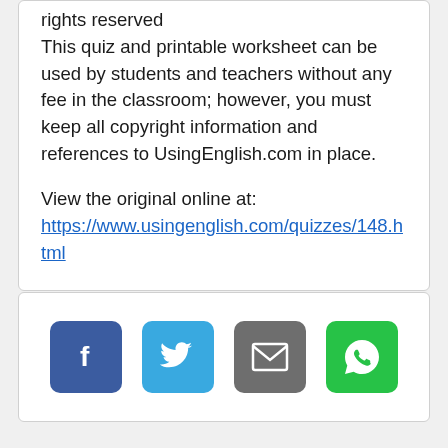rights reserved This quiz and printable worksheet can be used by students and teachers without any fee in the classroom; however, you must keep all copyright information and references to UsingEnglish.com in place.
View the original online at: https://www.usingenglish.com/quizzes/148.html
[Figure (other): Social sharing buttons: Facebook (dark blue), Twitter (light blue), Email (grey), WhatsApp (green)]